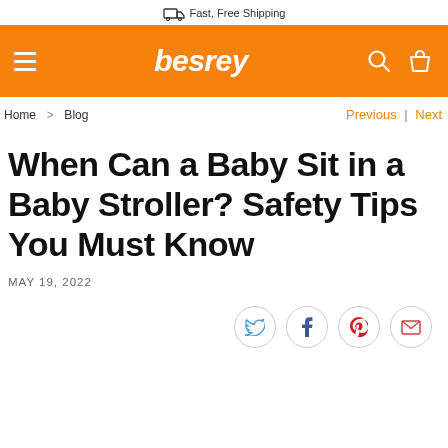Fast, Free Shipping
besrey
Home > Blog
Previous | Next
When Can a Baby Sit in a Baby Stroller? Safety Tips You Must Know
MAY 19, 2022
[Figure (infographic): Social sharing icons: Twitter, Facebook, Pinterest, Email in circular outlines]